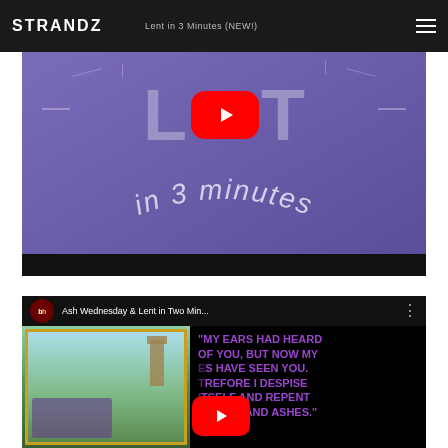STRANDZ
[Figure (screenshot): YouTube video thumbnail for 'Lent in 3 Minutes (NEW!)' showing purple background with large 'LENT' text and YouTube play button, with 'in 3 minutes' text in arc style below]
[Figure (screenshot): YouTube video thumbnail for 'Ash Wednesday & Lent in Two Min...' showing a BH logo, a religious painting on the left, and a quote 'MY EARS HAD HEARD OF YOU, BUT NOW MY EYES HAVE SEEN YOU. THEREFORE I DESPISE MYSELF AND REPENT IN DUST AND ASHES.' in purple text on black background]